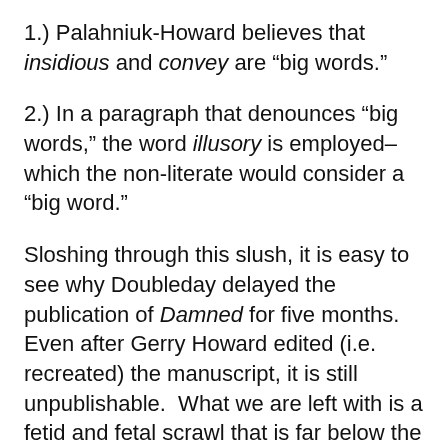1.) Palahniuk-Howard believes that insidious and convey are “big words.”
2.) In a paragraph that denounces “big words,” the word illusory is employed–which the non-literate would consider a “big word.”
Sloshing through this slush, it is easy to see why Doubleday delayed the publication of Damned for five months.  Even after Gerry Howard edited (i.e. recreated) the manuscript, it is still unpublishable.  What we are left with is a fetid and fetal scrawl that is far below the level of your neighborhood writers’ workshop.